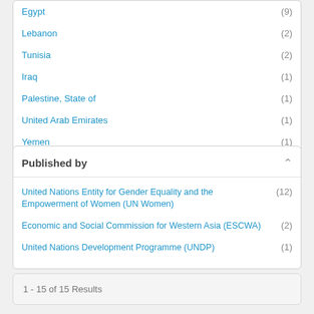Egypt (9)
Lebanon (2)
Tunisia (2)
Iraq (1)
Palestine, State of (1)
United Arab Emirates (1)
Yemen (1)
Published by
United Nations Entity for Gender Equality and the Empowerment of Women (UN Women) (12)
Economic and Social Commission for Western Asia (ESCWA) (2)
United Nations Development Programme (UNDP) (1)
1 - 15 of 15 Results